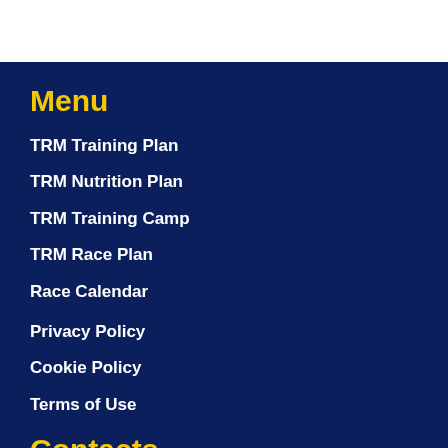Menu
TRM Training Plan
TRM Nutrition Plan
TRM Training Camp
TRM Race Plan
Race Calendar
Privacy Policy
Cookie Policy
Terms of Use
Contacts